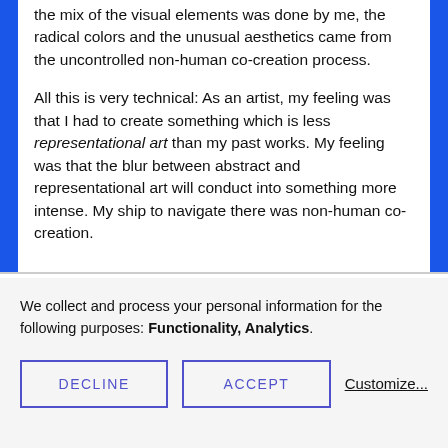the mix of the visual elements was done by me, the radical colors and the unusual aesthetics came from the uncontrolled non-human co-creation process.
All this is very technical: As an artist, my feeling was that I had to create something which is less representational art than my past works. My feeling was that the blur between abstract and representational art will conduct into something more intense. My ship to navigate there was non-human co-creation.
We collect and process your personal information for the following purposes: Functionality, Analytics.